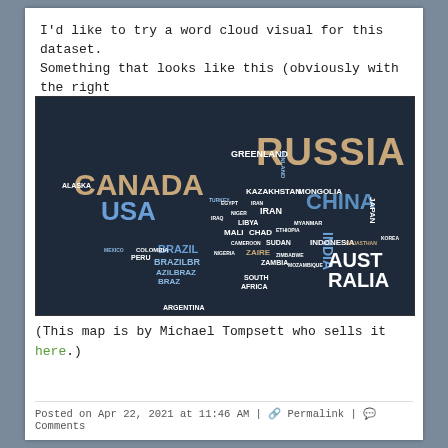I'd like to try a word cloud visual for this dataset. Something that looks like this (obviously with the right data encoding):
[Figure (map): A word cloud map of the world where country names are arranged to form the shapes of their respective countries. Large countries like Russia, Canada, USA, China, Brazil, Australia appear in large text. Smaller countries appear in smaller text. Colors include tan/beige for Canada and Russia, blue for USA and China, white for smaller countries. Background is dark navy blue.]
(This map is by Michael Tompsett who sells it here.)
Posted on Apr 22, 2021 at 11:46 AM | 🔗 Permalink | 💬 Comments